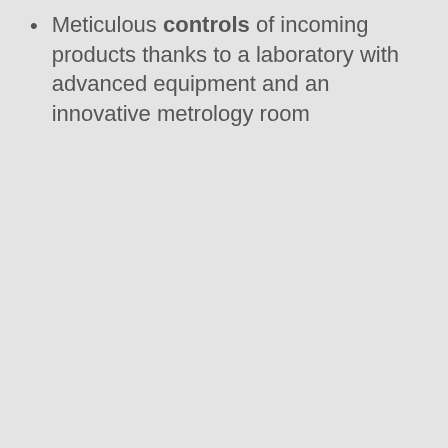Meticulous controls of incoming products thanks to a laboratory with advanced equipment and an innovative metrology room